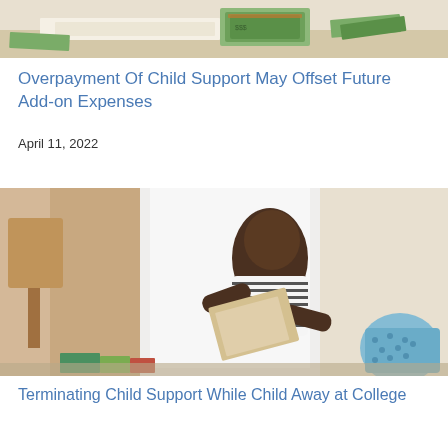[Figure (photo): Top portion of an image showing money/cash on a surface, partially cropped]
Overpayment Of Child Support May Offset Future Add-on Expenses
April 11, 2022
[Figure (photo): A young Black man in a striped t-shirt standing in a room reading documents, with a blue laundry basket visible on the right]
Terminating Child Support While Child Away at College